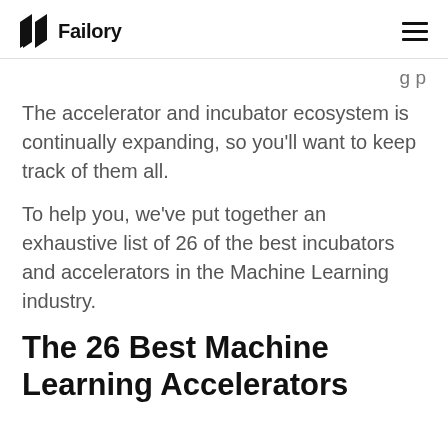Failory
g p
The accelerator and incubator ecosystem is continually expanding, so you'll want to keep track of them all.
To help you, we've put together an exhaustive list of 26 of the best incubators and accelerators in the Machine Learning industry.
The 26 Best Machine Learning Accelerators